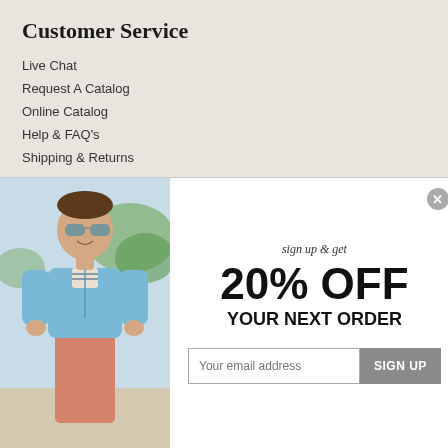Customer Service
Live Chat
Request A Catalog
Online Catalog
Help & FAQ's
Shipping & Returns
[Figure (photo): Man wearing a light blue quarter-zip sweater and salmon/orange chinos, smiling and wearing sunglasses, standing outdoors]
sign up & get
20% OFF
YOUR NEXT ORDER
Your email address
SIGN UP